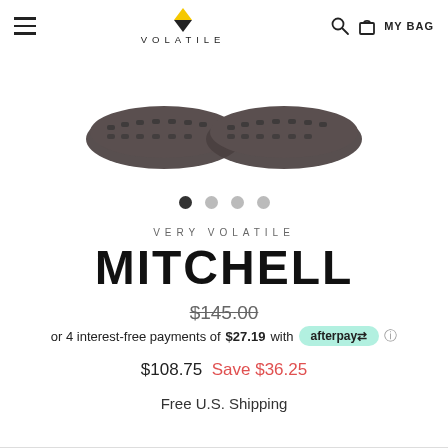VOLATILE — MY BAG
[Figure (photo): Bottom sole view of Mitchell shoe, dark textured rubber soles]
● ○ ○ ○ (carousel dots)
VERY VOLATILE
MITCHELL
$145.00 (strikethrough original price)
or 4 interest-free payments of $27.19 with afterpay
$108.75  Save $36.25
Free U.S. Shipping